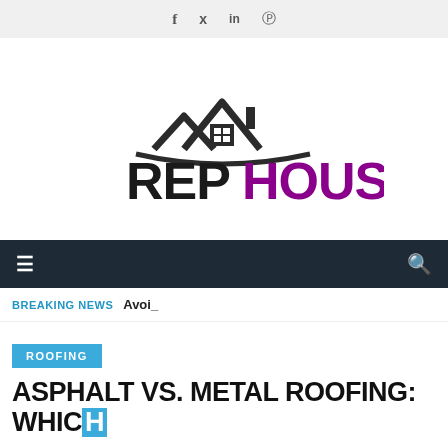Social icons: f (Facebook), Twitter, in (LinkedIn), Pinterest
[Figure (logo): REP HOUSE logo with house icon above text. 'REP' in black bold letters, 'HOUSE' in purple bold letters, with a stylized house roofline graphic above.]
Navigation bar with hamburger menu icon and search icon
BREAKING NEWS  Avoi_
ROOFING
ASPHALT VS. METAL ROOFING: WHICH